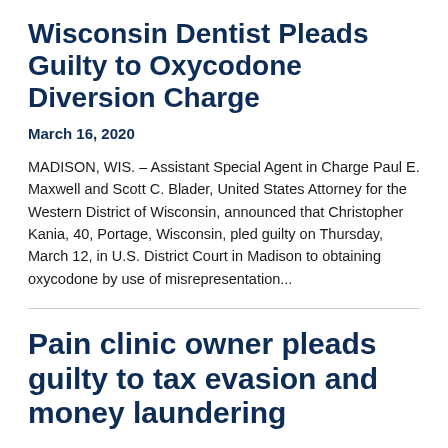Wisconsin Dentist Pleads Guilty to Oxycodone Diversion Charge
March 16, 2020
MADISON, WIS. – Assistant Special Agent in Charge Paul E. Maxwell and Scott C. Blader, United States Attorney for the Western District of Wisconsin, announced that Christopher Kania, 40, Portage, Wisconsin, pled guilty on Thursday, March 12, in U.S. District Court in Madison to obtaining oxycodone by use of misrepresentation...
Pain clinic owner pleads guilty to tax evasion and money laundering